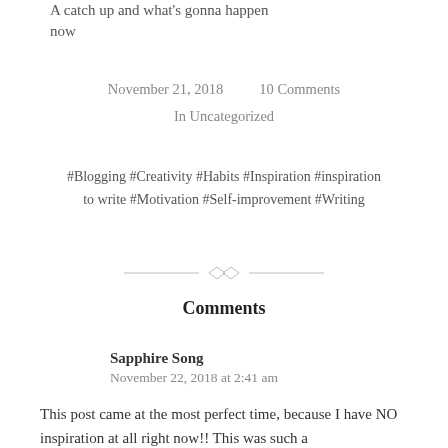A catch up and what's gonna happen now
November 21, 2018    10 Comments
In Uncategorized
#Blogging #Creativity #Habits #Inspiration #inspiration to write #Motivation #Self-improvement #Writing
Comments
Sapphire Song
November 22, 2018 at 2:41 am
This post came at the most perfect time, because I have NO inspiration at all right now!! This was such a